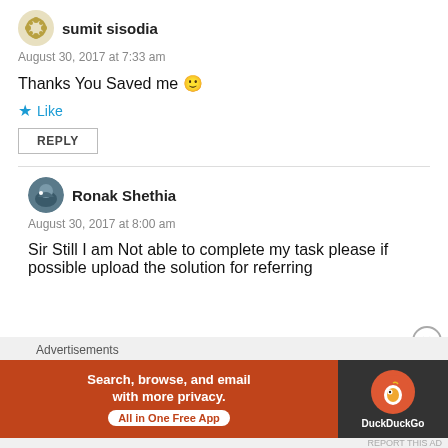sumit sisodia
August 30, 2017 at 7:33 am
Thanks You Saved me 🙂
★ Like
REPLY
Ronak Shethia
August 30, 2017 at 8:00 am
Sir Still I am Not able to complete my task please if possible upload the solution for referring
[Figure (infographic): DuckDuckGo advertisement banner: 'Search, browse, and email with more privacy. All in One Free App' on orange background with DuckDuckGo logo on dark background.]
Advertisements